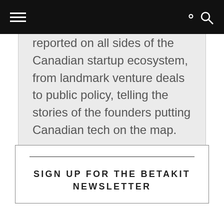reported on all sides of the Canadian startup ecosystem, from landmark venture deals to public policy, telling the stories of the founders putting Canadian tech on the map.
SIGN UP FOR THE BETAKIT NEWSLETTER